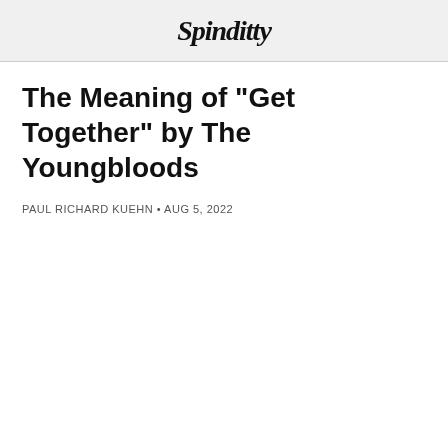Spinditty
The Meaning of "Get Together" by The Youngbloods
PAUL RICHARD KUEHN • AUG 5, 2022